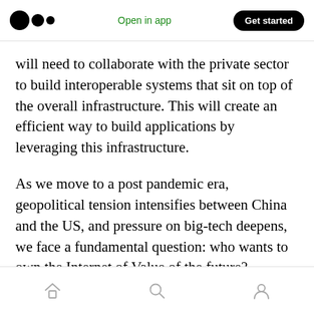Medium logo | Open in app | Get started
will need to collaborate with the private sector to build interoperable systems that sit on top of the overall infrastructure. This will create an efficient way to build applications by leveraging this infrastructure.
As we move to a post pandemic era, geopolitical tension intensifies between China and the US, and pressure on big-tech deepens, we face a fundamental question: who wants to own the Internet of Value of the future?
[home icon] [search icon] [profile icon]